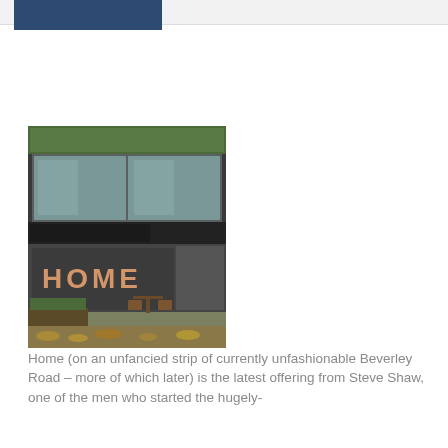[Figure (other): Header bar with a dark blue rectangle/logo placeholder on a light grey background]
There are very few sure things in the restaurant and hospitality trade, but a great, low-risk new venture from someone responsible for changing forever the food and drink culture in Hull is as close to a safe bet as your going to get.
[Figure (photo): Exterior photo of 'Home' restaurant/cafe on Beverley Road, showing large dark-framed windows, greenery on top, and outdoor seating area with autumn leaves on the ground]
Home (on an unfancied strip of currently unfashionable Beverley Road – more of which later) is the latest offering from Steve Shaw, one of the men who started the hugely-